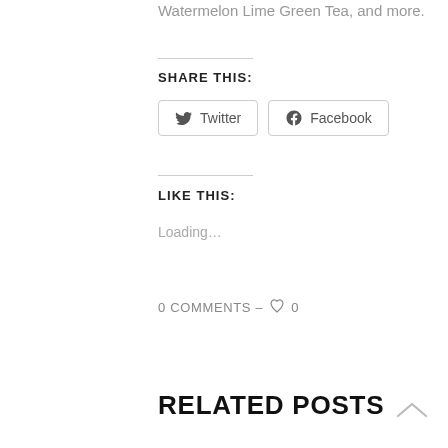Watermelon Lime Green Tea, and more.
SHARE THIS:
[Figure (screenshot): Twitter and Facebook share buttons]
LIKE THIS:
Loading…
0 COMMENTS – ♡ 0
RELATED POSTS